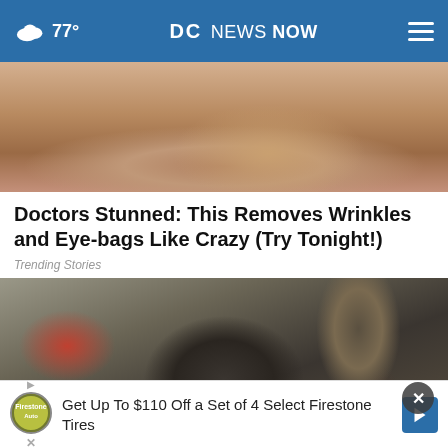77° DC NEWS NOW
[Figure (photo): Close-up photo of a person's face showing skin texture near nose and lips]
Doctors Stunned: This Removes Wrinkles and Eye-bags Like Crazy (Try Tonight!)
Trending Stories
[Figure (photo): Aerial or ground-level photo of what appears to be crash debris on pavement with people standing nearby]
Get Up To $110 Off a Set of 4 Select Firestone Tires